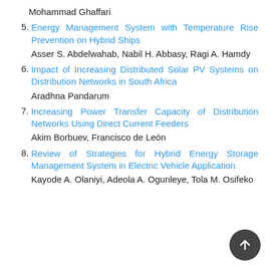Mohammad Ghaffari
5. Energy Management System with Temperature Rise Prevention on Hybrid Ships
Asser S. Abdelwahab, Nabil H. Abbasy, Ragi A. Hamdy
6. Impact of Increasing Distributed Solar PV Systems on Distribution Networks in South Africa
Aradhna Pandarum
7. Increasing Power Transfer Capacity of Distribution Networks Using Direct Current Feeders
Akim Borbuev, Francisco de León
8. Review of Strategies for Hybrid Energy Storage Management System in Electric Vehicle Application
Kayode A. Olaniyi, Adeola A. Ogunleye, Tola M. Osifeko